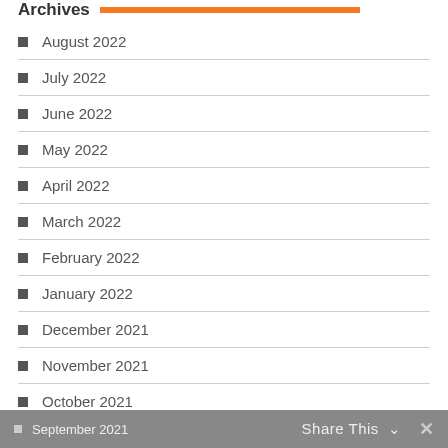Archives
August 2022
July 2022
June 2022
May 2022
April 2022
March 2022
February 2022
January 2022
December 2021
November 2021
October 2021
September 2021   Share This ∨   ×